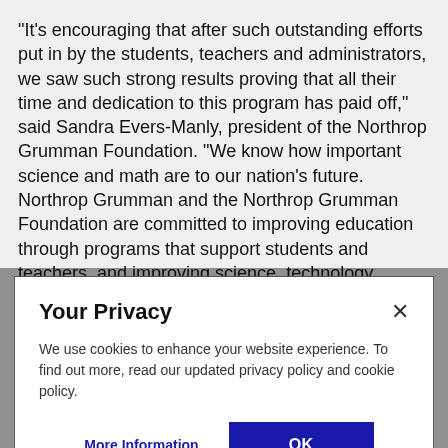"It's encouraging that after such outstanding efforts put in by the students, teachers and administrators, we saw such strong results proving that all their time and dedication to this program has paid off," said Sandra Evers-Manly, president of the Northrop Grumman Foundation. "We know how important science and math are to our nation's future. Northrop Grumman and the Northrop Grumman Foundation are committed to improving education through programs that support students and teachers, and improving science, technology, engineering and math curricula."
Your Privacy
We use cookies to enhance your website experience. To find out more, read our updated privacy policy and cookie policy.